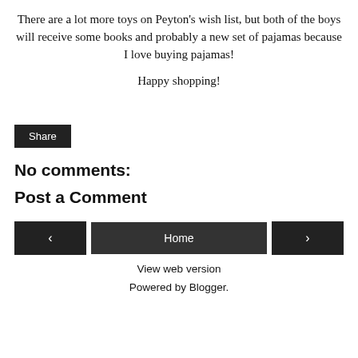There are a lot more toys on Peyton's wish list, but both of the boys will receive some books and probably a new set of pajamas because I love buying pajamas!
Happy shopping!
Share
No comments:
Post a Comment
‹    Home    ›
View web version
Powered by Blogger.